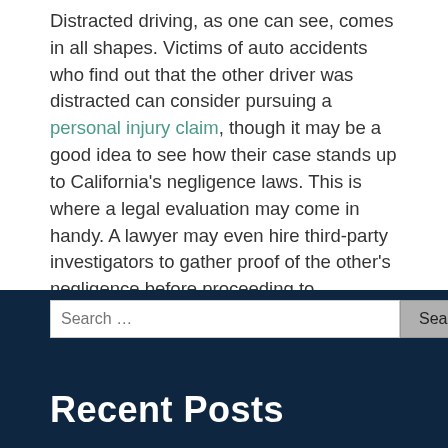Distracted driving, as one can see, comes in all shapes. Victims of auto accidents who find out that the other driver was distracted can consider pursuing a personal injury claim, though it may be a good idea to see how their case stands up to California's negligence laws. This is where a legal evaluation may come in handy. A lawyer may even hire third-party investigators to gather proof of the other's negligence before proceeding to negotiations. A successful claim could cover medical expenses, lost wages and other amounts.
Recent Posts